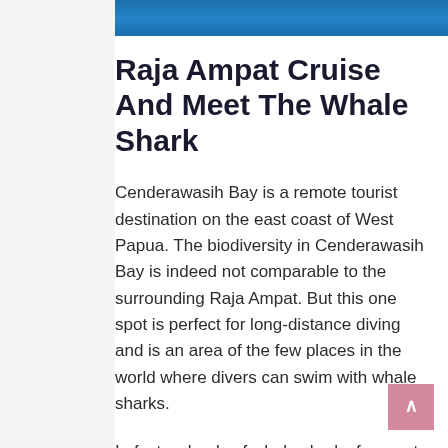[Figure (photo): Blue gradient header image bar at the top of the content area]
Raja Ampat Cruise And Meet The Whale Shark
Cenderawasih Bay is a remote tourist destination on the east coast of West Papua. The biodiversity in Cenderawasih Bay is indeed not comparable to the surrounding Raja Ampat. But this one spot is perfect for long-distance diving and is an area of the few places in the world where divers can swim with whale sharks.
In fact, schools of whale sharks frequent Cenderawasih bay and it is very easy for professional divers to approach the large